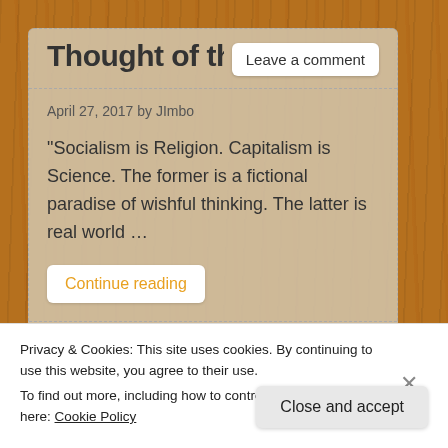Thought of the Day 4
Leave a comment
April 27, 2017 by JImbo
“Socialism is Religion. Capitalism is Science. The former is a fictional paradise of wishful thinking. The latter is real world …
Continue reading
Privacy & Cookies: This site uses cookies. By continuing to use this website, you agree to their use.
To find out more, including how to control cookies, see here: Cookie Policy
Close and accept